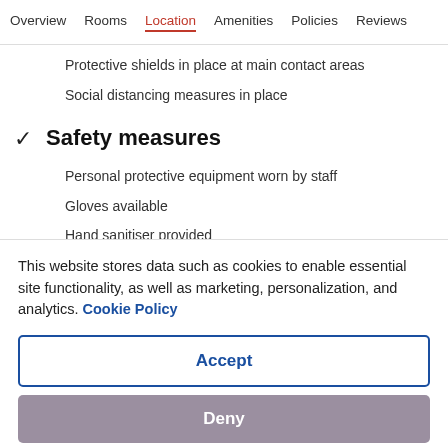Overview  Rooms  Location  Amenities  Policies  Reviews
Protective shields in place at main contact areas
Social distancing measures in place
✓  Safety measures
Personal protective equipment worn by staff
Gloves available
Hand sanitiser provided
This information is provided by our partners...
This website stores data such as cookies to enable essential site functionality, as well as marketing, personalization, and analytics. Cookie Policy
Accept
Deny